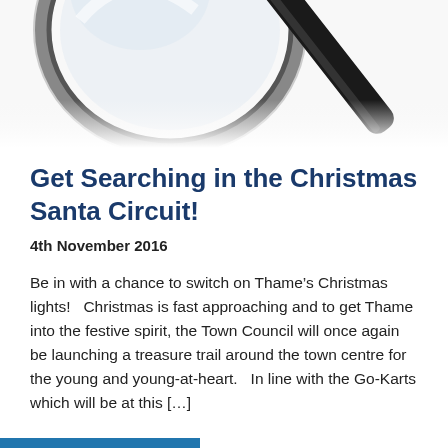[Figure (photo): A magnifying glass with black handle photographed from above on a white background, partially cropped at the top of the page.]
Get Searching in the Christmas Santa Circuit!
4th November 2016
Be in with a chance to switch on Thame’s Christmas lights!   Christmas is fast approaching and to get Thame into the festive spirit, the Town Council will once again be launching a treasure trail around the town centre for the young and young-at-heart.   In line with the Go-Karts which will be at this […]